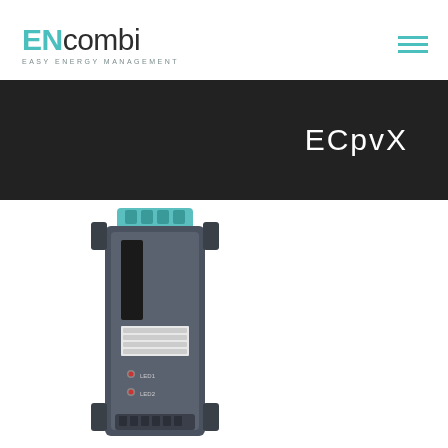ENcombi EASY ENERGY MANAGEMENT
ECpvX
[Figure (photo): A photo of the ECpvX device — a slim DIN-rail mounted electronic controller unit in a dark grey enclosure with a teal/green connector on top, a black vertical slot/display area on the front, labels and indicators, and a small circuit board visible at the bottom.]